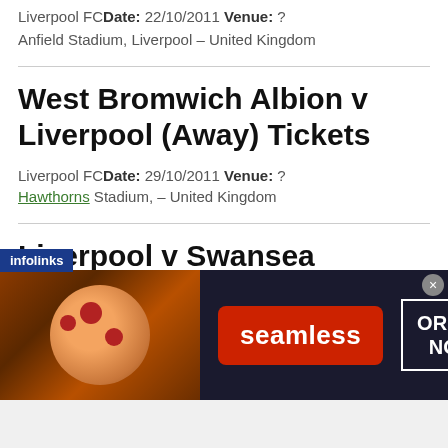Liverpool FC Date: 22/10/2011 Venue: ?
Anfield Stadium, Liverpool – United Kingdom
West Bromwich Albion v Liverpool (Away) Tickets
Liverpool FC Date: 29/10/2011 Venue: ?
Hawthorns Stadium, – United Kingdom
Liverpool v Swansea City Tickets
[Figure (infographic): Infolinks advertisement banner for Seamless food ordering service showing pizza image, Seamless logo in red button, and ORDER NOW button with close X button]